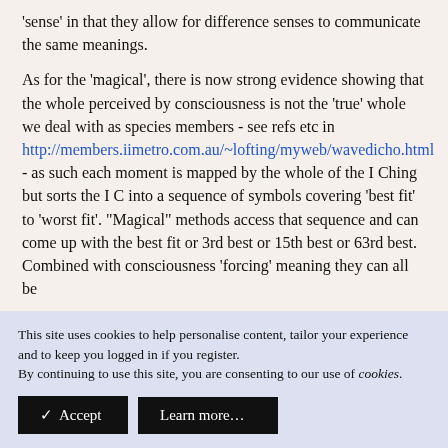'sense' in that they allow for difference senses to communicate the same meanings.
As for the 'magical', there is now strong evidence showing that the whole perceived by consciousness is not the 'true' whole we deal with as species members - see refs etc in http://members.iimetro.com.au/~lofting/myweb/wavedicho.html - as such each moment is mapped by the whole of the I Ching but sorts the I C into a sequence of symbols covering 'best fit' to 'worst fit'. "Magical" methods access that sequence and can come up with the best fit or 3rd best or 15th best or 63rd best. Combined with consciousness 'forcing' meaning they can all be
This site uses cookies to help personalise content, tailor your experience and to keep you logged in if you register.
By continuing to use this site, you are consenting to our use of cookies.